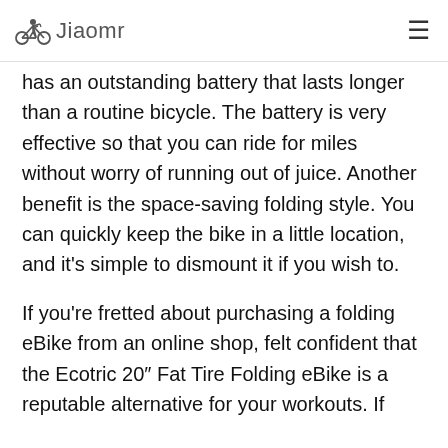Jiaomr
has an outstanding battery that lasts longer than a routine bicycle. The battery is very effective so that you can ride for miles without worry of running out of juice. Another benefit is the space-saving folding style. You can quickly keep the bike in a little location, and it’s simple to dismount it if you wish to.
If you’re fretted about purchasing a folding eBike from an online shop, felt confident that the Ecotric 20″ Fat Tire Folding eBike is a reputable alternative for your workouts. If